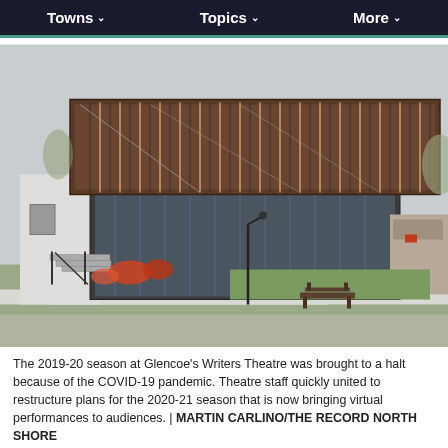Towns  ∨    Topics  ∨    More  ∨
[Figure (photo): Exterior photo of Writers Theatre in Glencoe — a modern two-story building with a brown metal vertical-slat facade on the upper floor and floor-to-ceiling glass windows on the lower floor, surrounded by landscaping and a bench in the foreground.]
The 2019-20 season at Glencoe's Writers Theatre was brought to a halt because of the COVID-19 pandemic. Theatre staff quickly united to restructure plans for the 2020-21 season that is now bringing virtual performances to audiences. | MARTIN CARLINO/THE RECORD NORTH SHORE